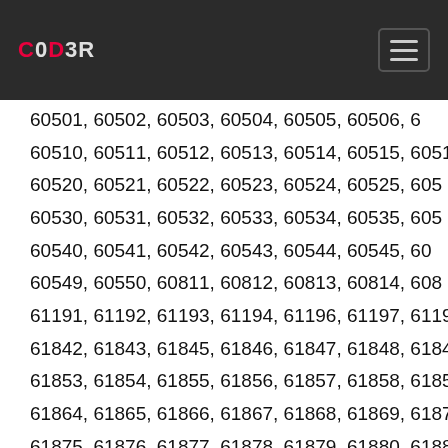C0D3R
60501, 60502, 60503, 60504, 60505, 60506, 6… 60510, 60511, 60512, 60513, 60514, 60515, 60516… 60520, 60521, 60522, 60523, 60524, 60525, 605… 60530, 60531, 60532, 60533, 60534, 60535, 605… 60540, 60541, 60542, 60543, 60544, 60545, 60… 60549, 60550, 60811, 60812, 60813, 60814, 608… 61191, 61192, 61193, 61194, 61196, 61197, 61198, 61199… 61842, 61843, 61845, 61846, 61847, 61848, 61849… 61853, 61854, 61855, 61856, 61857, 61858, 61859,… 61864, 61865, 61866, 61867, 61868, 61869, 61870,… 61875, 61876, 61877, 61878, 61879, 61880, 61881,… 61885, 61886, 61887, 61888, 61889, 61890, 61891,… 61895, 61896, 61897, 61898, 61899, 61900, 61901,… 61905, 61906, 61907, 61908, 61909, 61910, 61911, 6… 61916, 61917, 61918, 61919, 61920, 61921, 61922, 619… 61927, 61928, 61929, 61930, 61931, 61932, 61933,…